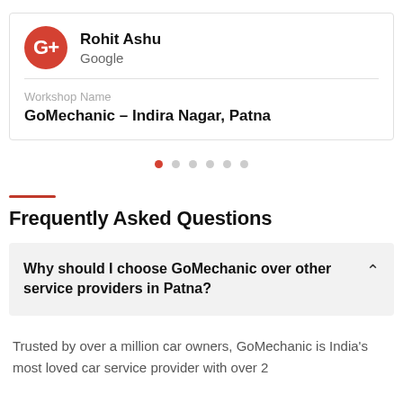[Figure (other): Google+ profile card showing Rohit Ashu's name with Google+ icon]
Rohit Ashu
Google
Workshop Name
GoMechanic – Indira Nagar, Patna
[Figure (other): Carousel pagination dots — 6 dots, first one active (red)]
Frequently Asked Questions
Why should I choose GoMechanic over other service providers in Patna?
Trusted by over a million car owners, GoMechanic is India's most loved car service provider with over 2